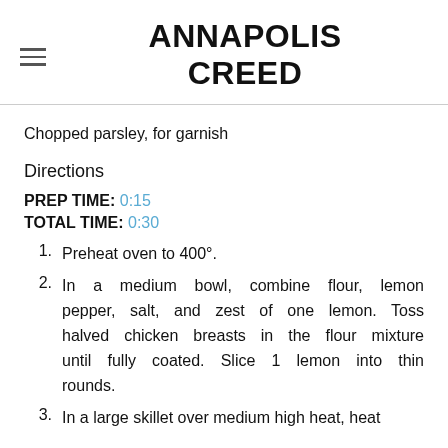ANNAPOLIS CREED
Chopped parsley, for garnish
Directions
PREP TIME: 0:15
TOTAL TIME: 0:30
1. Preheat oven to 400°.
2. In a medium bowl, combine flour, lemon pepper, salt, and zest of one lemon. Toss halved chicken breasts in the flour mixture until fully coated. Slice 1 lemon into thin rounds.
3. In a large skillet over medium high heat, heat